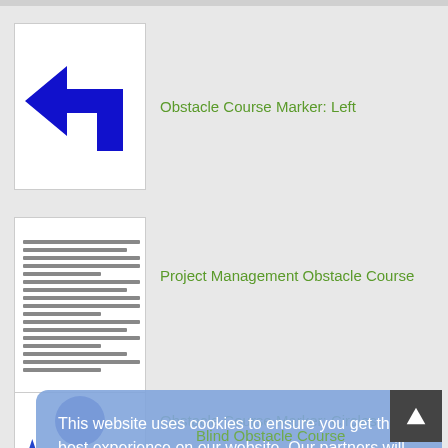[Figure (illustration): Blue left-turn arrow icon for Obstacle Course Marker: Left]
Obstacle Course Marker: Left
[Figure (illustration): Document thumbnail with text lines for Project Management Obstacle Course]
Project Management Obstacle Course
[Figure (illustration): Blue star icon partially visible - Obstacle Course Marker: Circles]
Obstacle Course Marker: Circles
This website uses cookies to ensure you get the best experience on our website. Our partners will collect data and use cookies for ad personalization and measurement.
Learn how we and our partners collect and use data.
Blind Obstacle Course
[Figure (illustration): Scroll to top button in dark grey with up arrow]